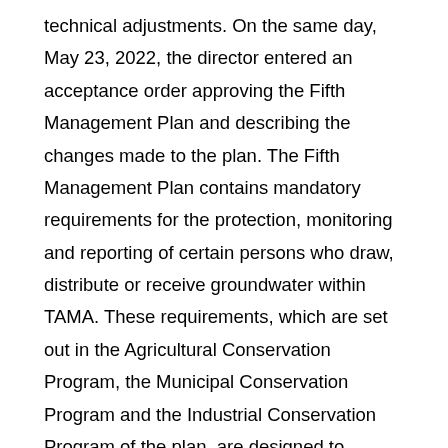technical adjustments. On the same day, May 23, 2022, the director entered an acceptance order approving the Fifth Management Plan and describing the changes made to the plan. The Fifth Management Plan contains mandatory requirements for the protection, monitoring and reporting of certain persons who draw, distribute or receive groundwater within TAMA. These requirements, which are set out in the Agricultural Conservation Program, the Municipal Conservation Program and the Industrial Conservation Program of the plan, are designed to achieve a reduction in groundwater abstraction under TAMA. The fifth management plan also includes a summary, chapters discussing hydrology, water demand and supply, groundwater storage, savings and replenishment, mandatory conservation programs, implementation, compliance and support, and water strategy. Transcripts of the public hearing, a summary of the hearing and findings, the adoption order, and the fifth management plan are available on the department's website at https://new.azwater.gov/ama/management-plans. Copies of the